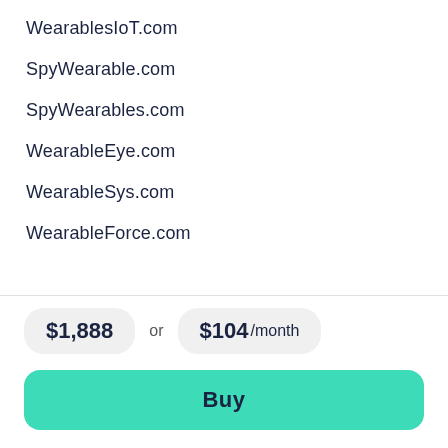WearablesIoT.com
SpyWearable.com
SpyWearables.com
WearableEye.com
WearableSys.com
WearableForce.com
$1,888 or $104 /month
Buy